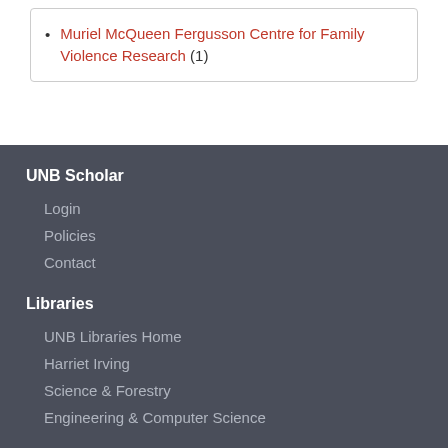Muriel McQueen Fergusson Centre for Family Violence Research (1)
UNB Scholar
Login
Policies
Contact
Libraries
UNB Libraries Home
Harriet Irving
Science & Forestry
Engineering & Computer Science